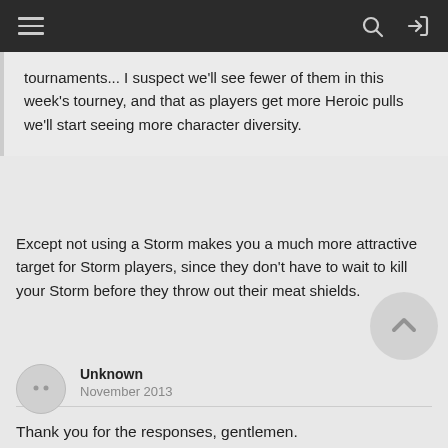Navigation bar with hamburger menu, search, and login icons
tournaments... I suspect we'll see fewer of them in this week's tourney, and that as players get more Heroic pulls we'll start seeing more character diversity.
Except not using a Storm makes you a much more attractive target for Storm players, since they don't have to wait to kill your Storm before they throw out their meat shields.
Unknown
November 2013
Thank you for the responses, gentlemen.